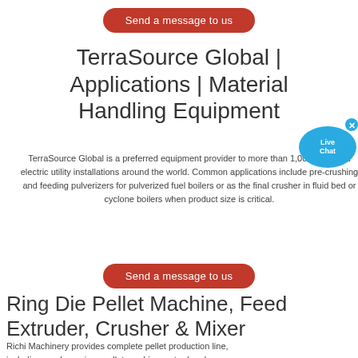Send a message to us
TerraSource Global | Applications | Material Handling Equipment
TerraSource Global is a preferred equipment provider to more than 1,000 coal-fired electric utility installations around the world. Common applications include pre-crushing and feeding pulverizers for pulverized fuel boilers or as the final crusher in fluid bed or cyclone boilers when product size is critical.
Send a message to us
Ring Die Pellet Machine, Feed Extruder, Crusher & Mixer
Richi Machinery provides complete pellet production line, including crusher, mixer, pellet machine, extruder, dryer